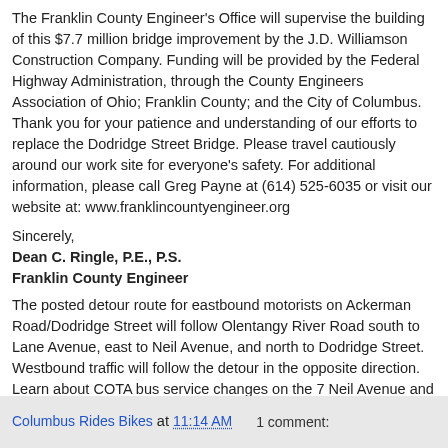The Franklin County Engineer's Office will supervise the building of this $7.7 million bridge improvement by the J.D. Williamson Construction Company. Funding will be provided by the Federal Highway Administration, through the County Engineers Association of Ohio; Franklin County; and the City of Columbus. Thank you for your patience and understanding of our efforts to replace the Dodridge Street Bridge. Please travel cautiously around our work site for everyone's safety. For additional information, please call Greg Payne at (614) 525-6035 or visit our website at: www.franklincountyengineer.org
Sincerely,
Dean C. Ringle, P.E., P.S.
Franklin County Engineer
The posted detour route for eastbound motorists on Ackerman Road/Dodridge Street will follow Olentangy River Road south to Lane Avenue, east to Neil Avenue, and north to Dodridge Street. Westbound traffic will follow the detour in the opposite direction. Learn about COTA bus service changes on the 7 Neil Avenue and 81 Hudson/Ohio routes by visiting www.cota.com or calling COTA Customer Service at (614) 228-1776.
Columbus Rides Bikes at 11:14 AM    1 comment: